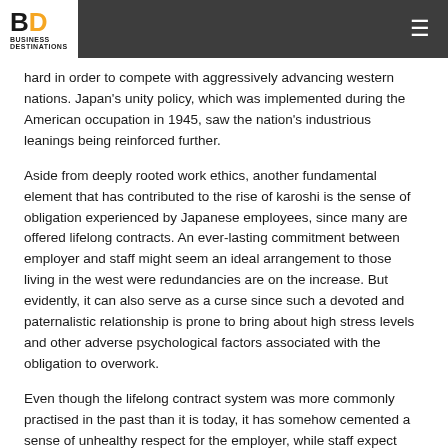BD Business Destinations
hard in order to compete with aggressively advancing western nations. Japan's unity policy, which was implemented during the American occupation in 1945, saw the nation's industrious leanings being reinforced further.
Aside from deeply rooted work ethics, another fundamental element that has contributed to the rise of karoshi is the sense of obligation experienced by Japanese employees, since many are offered lifelong contracts. An ever-lasting commitment between employer and staff might seem an ideal arrangement to those living in the west were redundancies are on the increase. But evidently, it can also serve as a curse since such a devoted and paternalistic relationship is prone to bring about high stress levels and other adverse psychological factors associated with the obligation to overwork.
Even though the lifelong contract system was more commonly practised in the past than it is today, it has somehow cemented a sense of unhealthy respect for the employer, while staff expect very little in return, aside from